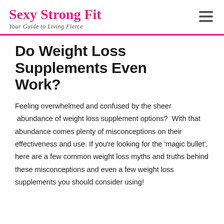Sexy Strong Fit — Your Guide to Living Fierce
Do Weight Loss Supplements Even Work?
Feeling overwhelmed and confused by the sheer  abundance of weight loss supplement options?  With that abundance comes plenty of misconceptions on their effectiveness and use. If you're looking for the 'magic bullet', here are a few common weight loss myths and truths behind these misconceptions and even a few weight loss supplements you should consider using!